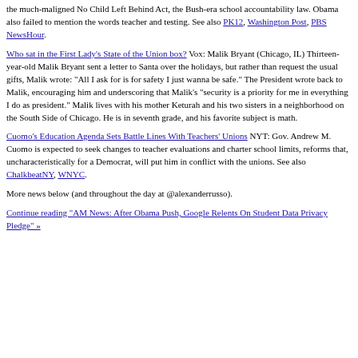the much-maligned No Child Left Behind Act, the Bush-era school accountability law. Obama also failed to mention the words teacher and testing. See also PK12, Washington Post, PBS NewsHour.
Who sat in the First Lady's State of the Union box? Vox: Malik Bryant (Chicago, IL) Thirteen-year-old Malik Bryant sent a letter to Santa over the holidays, but rather than request the usual gifts, Malik wrote: "All I ask for is for safety I just wanna be safe." The President wrote back to Malik, encouraging him and underscoring that Malik's "security is a priority for me in everything I do as president." Malik lives with his mother Keturah and his two sisters in a neighborhood on the South Side of Chicago. He is in seventh grade, and his favorite subject is math.
Cuomo's Education Agenda Sets Battle Lines With Teachers' Unions NYT: Gov. Andrew M. Cuomo is expected to seek changes to teacher evaluations and charter school limits, reforms that, uncharacteristically for a Democrat, will put him in conflict with the unions. See also ChalkbeatNY, WNYC.
More news below (and throughout the day at @alexanderrusso).
Continue reading "AM News: After Obama Push, Google Relents On Student Data Privacy Pledge" »